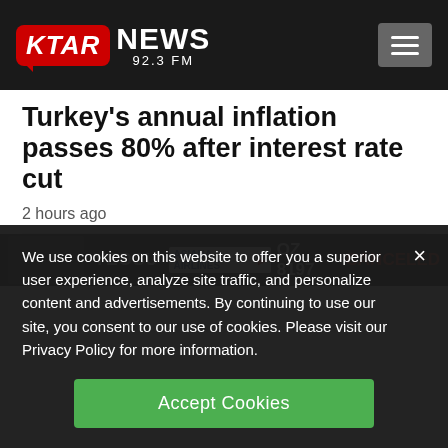KTAR NEWS 92.3 FM
Turkey's annual inflation passes 80% after interest rate cut
2 hours ago
[Figure (screenshot): Partially visible airport flight display board showing YEOSU destination, Asiana Airlines logo, flight OZ 8197 CANCELED]
We use cookies on this website to offer you a superior user experience, analyze site traffic, and personalize content and advertisements. By continuing to use our site, you consent to our use of cookies. Please visit our Privacy Policy for more information.
Accept Cookies